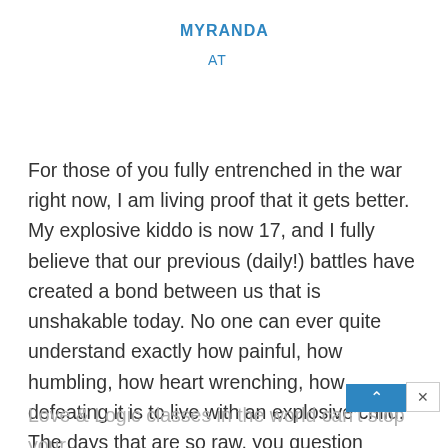MYRANDA
AT
For those of you fully entrenched in the war right now, I am living proof that it gets better. My explosive kiddo is now 17, and I fully believe that our previous (daily!) battles have created a bond between us that is unshakable today. No one can ever quite understand exactly how painful, how humbling, how heart wrenching, how defeating it is to live with an explosive child. The days that are so raw, you question everything about yourself and your life. Being told you should be tougher on your kiddo for their bad attitude. Knowing that all th
Love & Logic classes in the world can't stop your